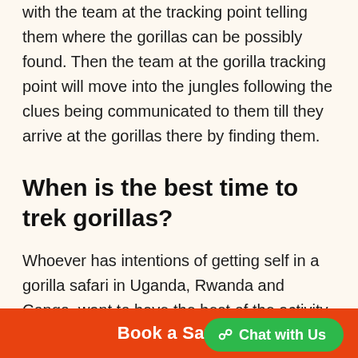with the team at the tracking point telling them where the gorillas can be possibly found. Then the team at the gorilla tracking point will move into the jungles following the clues being communicated to them till they arrive at the gorillas there by finding them.
When is the best time to trek gorillas?
Whoever has intentions of getting self in a gorilla safari in Uganda, Rwanda and Congo, want to have the best of the activity and the first question
Book a Safari   Chat with Us